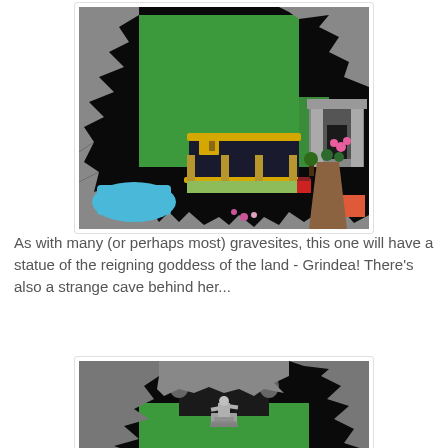[Figure (screenshot): A top-down RPG game screenshot showing a gravesite area with green grass, rocky cave walls, a Japanese-style building, a stone gate/arch entrance, blue water, flowers, and a red marker. The scene is rendered in a retro pixel-art style with dark surroundings.]
As with many (or perhaps most) gravesites, this one will have a statue of the reigning goddess of the land - Grindea! There's also a strange cave behind her...
[Figure (screenshot): A top-down RPG game screenshot showing a cave entrance with a statue on green grass, surrounded by rocky grey cave walls against a dark background. The scene is in retro pixel-art style.]